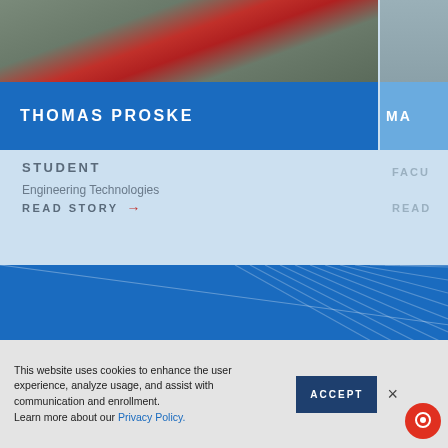[Figure (photo): Photo of Thomas Proske wearing a grey jacket and red shirt, cropped to show torso]
THOMAS PROSKE
MA
STUDENT
Engineering Technologies
READ STORY →
FACU
READ
[Figure (illustration): Blue background section with diagonal arrow line decorations and partial text 'The future']
The future
This website uses cookies to enhance the user experience, analyze usage, and assist with communication and enrollment. Learn more about our Privacy Policy.
ACCEPT